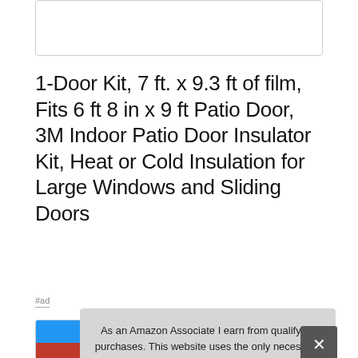[Figure (other): Top portion of a product image, partially cut off at the top of the page]
1-Door Kit, 7 ft. x 9.3 ft of film, Fits 6 ft 8 in x 9 ft Patio Door, 3M Indoor Patio Door Insulator Kit, Heat or Cold Insulation for Large Windows and Sliding Doors
#ad
[Figure (photo): Product thumbnail showing blue and red packaging]
As an Amazon Associate I earn from qualifying purchases. This website uses the only necessary cookies to ensure you get the best experience on our website. More information